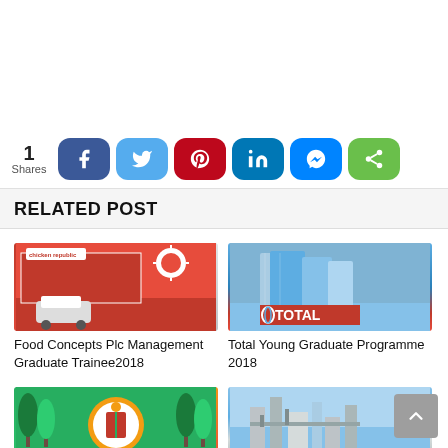[Figure (screenshot): Social share bar with count '1 Shares' and buttons for Facebook, Twitter, Pinterest, LinkedIn, Messenger, and general Share]
RELATED POST
[Figure (photo): Food Concepts Plc storefront with red branding and vehicles]
Food Concepts Plc Management Graduate Trainee2018
[Figure (photo): Total company glass tower buildings with Total logo]
Total Young Graduate Programme 2018
[Figure (photo): Government/municipality logo with palm trees]
[Figure (photo): Industrial facility/refinery buildings]